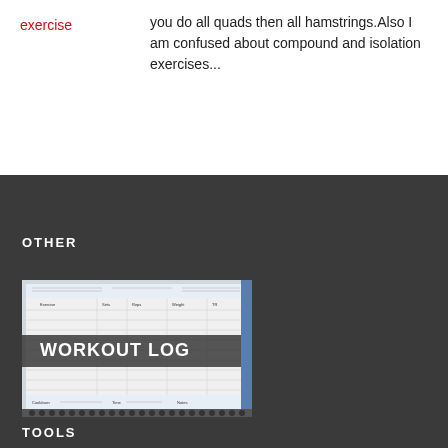exercise
you do all quads then all hamstrings.Also I am confused about compound and isolation exercises...
OTHER
[Figure (screenshot): Workout log form screenshot with WORKOUT LOG text overlay]
TOOLS